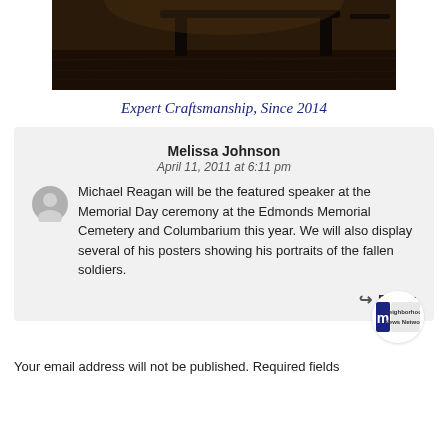[Figure (photo): Dark wooden table/furniture in a dim room, top portion cropped]
Expert Craftsmanship, Since 2014
Melissa Johnson
April 11, 2011 at 6:11 pm

Michael Reagan will be the featured speaker at the Memorial Day ceremony at the Edmonds Memorial Cemetery and Columbarium this year. We will also display several of his posters showing his portraits of the fallen soldiers.
↪ Reply
Your email address will not be published. Required fields